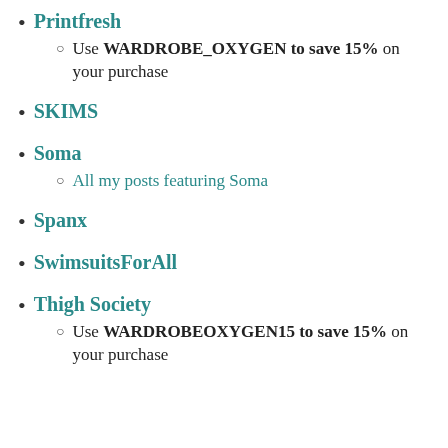Printfresh
Use WARDROBE_OXYGEN to save 15% on your purchase
SKIMS
Soma
All my posts featuring Soma
Spanx
SwimsuitsForAll
Thigh Society
Use WARDROBEOXYGEN15 to save 15% on your purchase